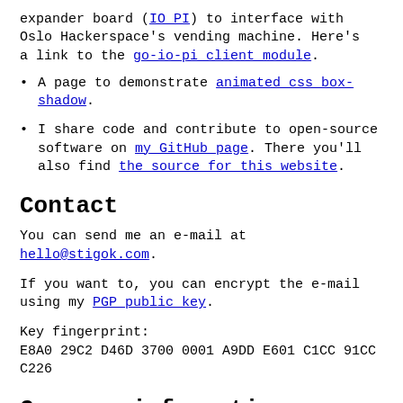expander board (IO PI) to interface with Oslo Hackerspace's vending machine. Here's a link to the go-io-pi client module.
A page to demonstrate animated css box-shadow.
I share code and contribute to open-source software on my GitHub page. There you'll also find the source for this website.
Contact
You can send me an e-mail at hello@stigok.com.
If you want to, you can encrypt the e-mail using my PGP public key.
Key fingerprint:
E8A0 29C2 D46D 3700 0001 A9DD E601 C1CC 91CC C226
Company information